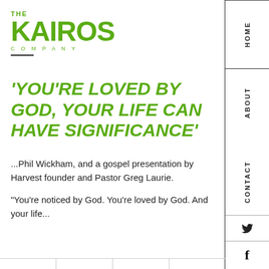[Figure (logo): The Kairos Company logo in green with 'THE' above 'KAIROS' in large bold text, and 'COMPANY' in small spaced letters below, with a short black underline.]
'YOU'RE LOVED BY GOD, YOUR LIFE CAN HAVE SIGNIFICANCE'
...Phil Wickham, and a gospel presentation by Harvest founder and Pastor Greg Laurie.
“You’re noticed by God. You’re loved by God. And your life...
HOME
ABOUT
CONTACT